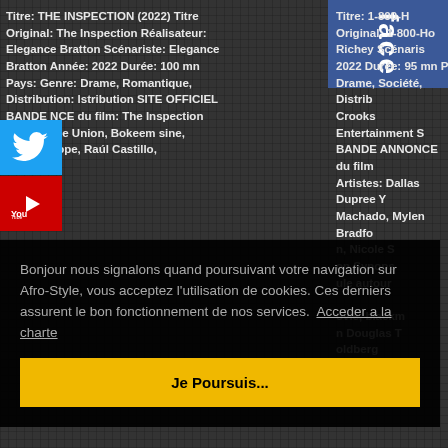Titre: THE INSPECTION (2022) Titre Original: The Inspection Réalisateur: Elegance Bratton Scénariste: Elegance Bratton Année: 2022 Durée: 100 mn Pays: Genre: Drame, Romantique, Distribution: listribution SITE OFFICIEL BANDE NCE du film: The Inspection Artistes: lle Union, Bokeem sine, Jeremy Pope, Raúl Castillo,
Titre: 1-800-H Original: 1-800-Ho Richey Scénaris 2022 Durée: 95 mn P Drame, Société, Distrib Crooks Entertainment S BANDE ANNONCE du film Artistes: Dallas Dupree Y Machado, Mylen Bradfo n, Nicole S on Synops ule autour ovie, blackm n Douglas T oldberg
[Figure (logo): Facebook logo icon — blue background with white 'face' text rotated]
[Figure (logo): Twitter bird logo icon — blue background]
[Figure (logo): YouTube logo icon — red background with white YouTube text]
Bonjour nous signalons quand poursuivant votre navigation sur Afro-Style, vous acceptez l'utilisation de cookies. Ces derniers assurent le bon fonctionnement de nos services.  Acceder a la charte
Je Poursuis...